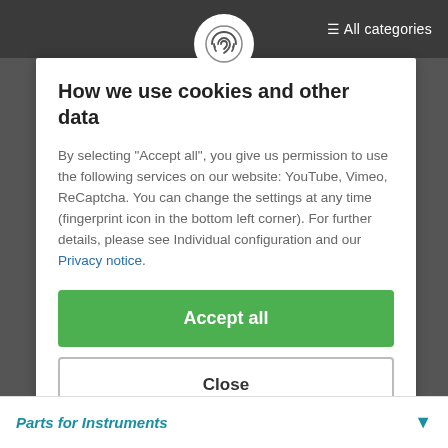All categories
How we use cookies and other data
By selecting "Accept all", you give us permission to use the following services on our website: YouTube, Vimeo, ReCaptcha. You can change the settings at any time (fingerprint icon in the bottom left corner). For further details, please see Individual configuration and our Privacy notice.
Accept all
Close
Configuration
Parts for Instruments